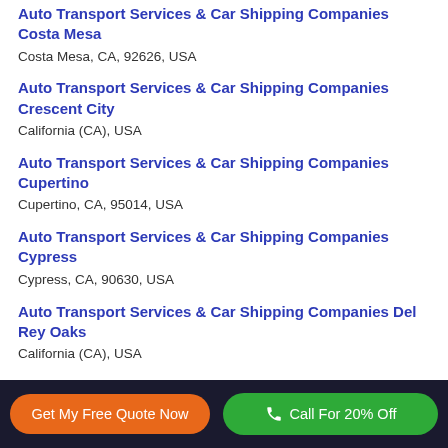Auto Transport Services & Car Shipping Companies Costa Mesa
Costa Mesa, CA, 92626, USA
Auto Transport Services & Car Shipping Companies Crescent City
California (CA), USA
Auto Transport Services & Car Shipping Companies Cupertino
Cupertino, CA, 95014, USA
Auto Transport Services & Car Shipping Companies Cypress
Cypress, CA, 90630, USA
Auto Transport Services & Car Shipping Companies Del Rey Oaks
California (CA), USA
Get My Free Quote Now   Call For 20% Off